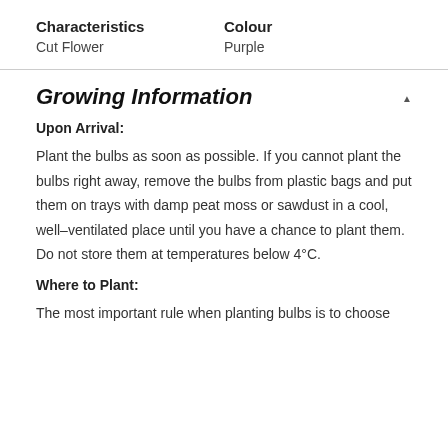| Characteristics | Colour |
| --- | --- |
| Cut Flower | Purple |
Growing Information
Upon Arrival:
Plant the bulbs as soon as possible. If you cannot plant the bulbs right away, remove the bulbs from plastic bags and put them on trays with damp peat moss or sawdust in a cool, well–ventilated place until you have a chance to plant them. Do not store them at temperatures below 4°C.
Where to Plant:
The most important rule when planting bulbs is to choose